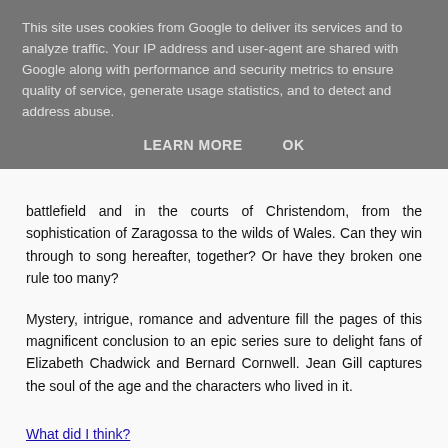This site uses cookies from Google to deliver its services and to analyze traffic. Your IP address and user-agent are shared with Google along with performance and security metrics to ensure quality of service, generate usage statistics, and to detect and address abuse.
LEARN MORE   OK
battlefield and in the courts of Christendom, from the sophistication of Zaragossa to the wilds of Wales. Can they win through to song hereafter, together? Or have they broken one rule too many?
Mystery, intrigue, romance and adventure fill the pages of this magnificent conclusion to an epic series sure to delight fans of Elizabeth Chadwick and Bernard Cornwell. Jean Gill captures the soul of the age and the characters who lived in it.
What did I think?